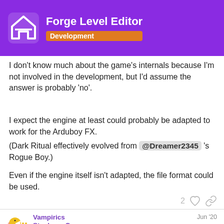Forge Level Editor | Development
I don't know much about the game's internals because I'm not involved in the development, but I'd assume the answer is probably 'no'.
I expect the engine at least could probably be adapted to work for the Arduboy FX.
(Dark Ritual effectively evolved from @Dreamer2345 's Rogue Boy.)
Even if the engine itself isn't adapted, the file format could be used.
2 ♡ 🔗
Vampirics
Stephane C
Jun '20
Pharap:
3 / 13